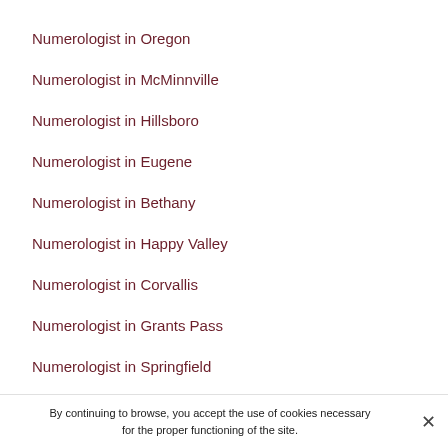Numerologist in Oregon
Numerologist in McMinnville
Numerologist in Hillsboro
Numerologist in Eugene
Numerologist in Bethany
Numerologist in Happy Valley
Numerologist in Corvallis
Numerologist in Grants Pass
Numerologist in Springfield
Numerologist in Tualatin
Numerologist in Keizer
Numerologist in Ontario
By continuing to browse, you accept the use of cookies necessary for the proper functioning of the site.